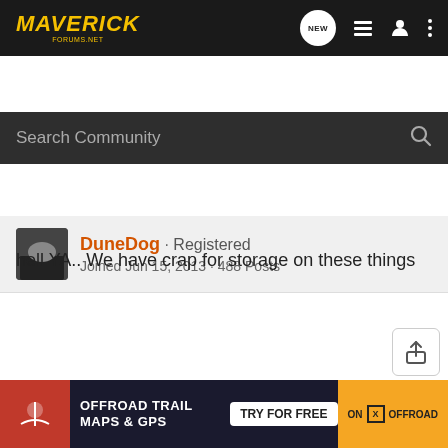MAVERICK Forums - Search Community
DuneDog · Registered
Joined Jun 15, 2013 · 488 Posts
#2 · Sep 22, 2013
hell YA.. We have crap for storage on these things
[Figure (screenshot): Ad banner: OFFROAD TRAIL MAPS & GPS - TRY FOR FREE - ON X OFFROAD]